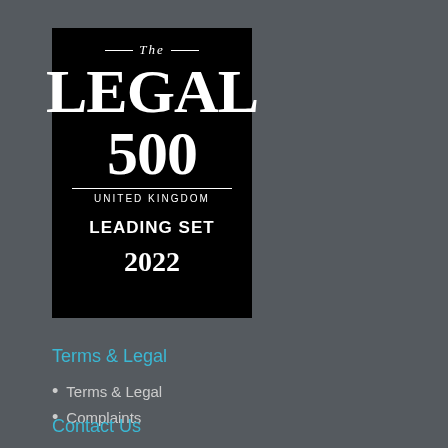[Figure (logo): The Legal 500 United Kingdom Leading Set 2022 badge — black rectangle with white serif text]
Terms & Legal
Terms & Legal
Complaints
Contact Us